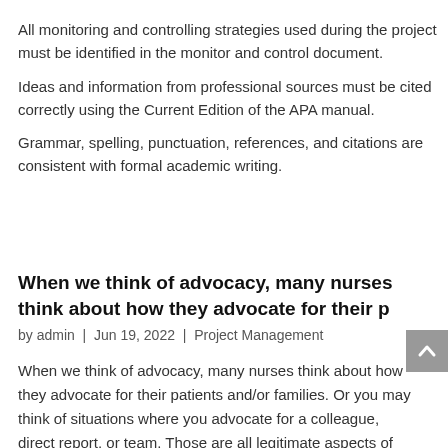All monitoring and controlling strategies used during the project must be identified in the monitor and control document.
Ideas and information from professional sources must be cited correctly using the Current Edition of the APA manual.
Grammar, spelling, punctuation, references, and citations are consistent with formal academic writing.
When we think of advocacy, many nurses think about how they advocate for their p
by admin | Jun 19, 2022 | Project Management
When we think of advocacy, many nurses think about how they advocate for their patients and/or families. Or you may think of situations where you advocate for a colleague, direct report, or team. Those are all legitimate aspects of advocacy and important for nurses. You've probably heard an instructor or mentor